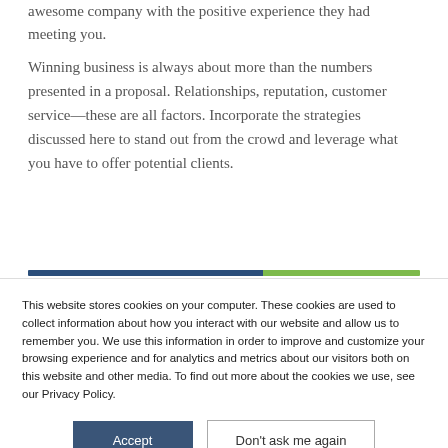awesome company with the positive experience they had meeting you.
Winning business is always about more than the numbers presented in a proposal. Relationships, reputation, customer service—these are all factors. Incorporate the strategies discussed here to stand out from the crowd and leverage what you have to offer potential clients.
This website stores cookies on your computer. These cookies are used to collect information about how you interact with our website and allow us to remember you. We use this information in order to improve and customize your browsing experience and for analytics and metrics about our visitors both on this website and other media. To find out more about the cookies we use, see our Privacy Policy.